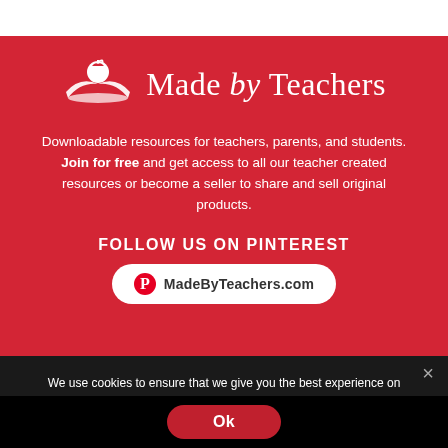[Figure (logo): Made by Teachers logo: white apple sitting on open book, with text 'Made by Teachers' in white serif font on red background]
Downloadable resources for teachers, parents, and students. Join for free and get access to all our teacher created resources or become a seller to share and sell original products.
FOLLOW US ON PINTEREST
MadeByTeachers.com
We use cookies to ensure that we give you the best experience on our website. If you continue to use this site we will assume that you are happy with it.
Ok